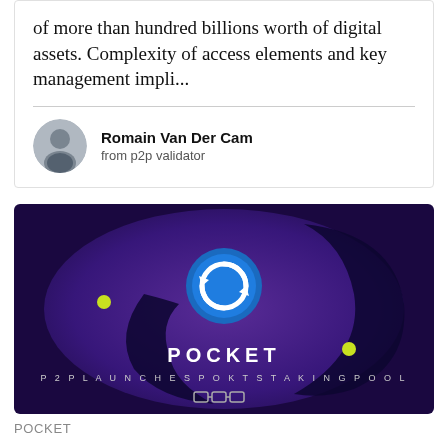of more than hundred billions worth of digital assets. Complexity of access elements and key management impli...
Romain Van Der Cam
from p2p validator
[Figure (illustration): Dark purple/blue background with spiral design, POCKET logo in blue circle, text 'POCKET' and 'P2P LAUNCHES POKT STAKING POOL', p2p logo at bottom, two yellow dots decorating the image]
POCKET